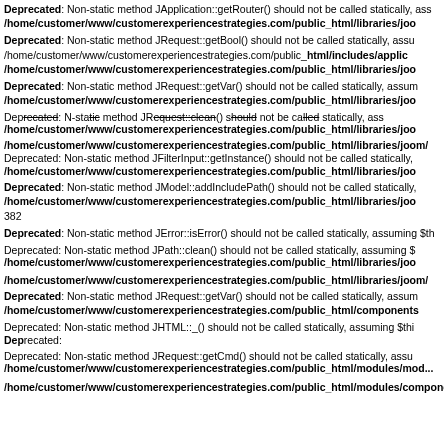Deprecated: Non-static method JApplication::getRouter() should not be called statically, assuming $this from incompatible context in /home/customer/www/customerexperiencestrategies.com/public_html/libraries/joo...
Deprecated: Non-static method JRequest::getBool() should not be called statically, assuming $this from incompatible context in /home/customer/www/customerexperiencestrategies.com/public_html/includes/applic... /home/customer/www/customerexperiencestrategies.com/public_html/libraries/joo...
Deprecated: Non-static method JRequest::getVar() should not be called statically, assuming $this from incompatible context in /home/customer/www/customerexperiencestrategies.com/public_html/libraries/joo...
Deprecated: Non-static method JRequest::clean() should not be called statically, assuming $this from incompatible context in /home/customer/www/customerexperiencestrategies.com/public_html/libraries/joo...
/home/customer/www/customerexperiencestrategies.com/public_html/libraries/joom/... Deprecated: Non-static method JFilterInput::getInstance() should not be called statically, assuming $this from incompatible context in /home/customer/www/customerexperiencestrategies.com/public_html/libraries/joo...
Deprecated: Non-static method JModel::addIncludePath() should not be called statically, assuming $this from incompatible context in /home/customer/www/customerexperiencestrategies.com/public_html/libraries/joo... 382
Deprecated: Non-static method JError::isError() should not be called statically, assuming $th...
Deprecated: Non-static method JPath::clean() should not be called statically, assuming $this from incompatible context in /home/customer/www/customerexperiencestrategies.com/public_html/libraries/joo... /home/customer/www/customerexperiencestrategies.com/public_html/libraries/joom/...
Deprecated: Non-static method JRequest::getVar() should not be called statically, assuming $this from incompatible context in /home/customer/www/customerexperiencestrategies.com/public_html/components...
Deprecated: Non-static method JHTML::_() should not be called statically, assuming $this from incompatible context in /home/customer/www/customerexperiencestrategies.com/public_html/components...
Deprecated: Non-static method JRequest::getCmd() should not be called statically, assuming $this from incompatible context in /home/customer/www/customerexperiencestrategies.com/public_html/modules/mod... /home/customer/www/customerexperiencestrategies.com/public_html/modules/components...